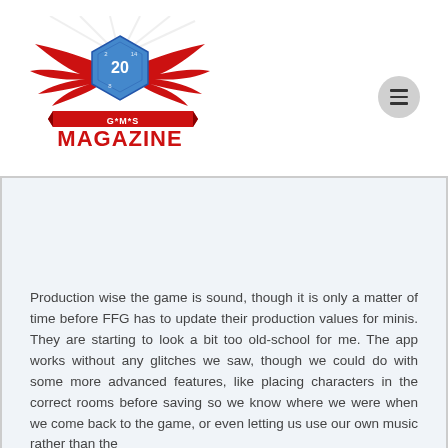[Figure (logo): GMS Magazine logo: blue d20 die with red wings and a red ribbon banner reading G*M*S MAGAZINE]
Production wise the game is sound, though it is only a matter of time before FFG has to update their production values for minis. They are starting to look a bit too old-school for me. The app works without any glitches we saw, though we could do with some more advanced features, like placing characters in the correct rooms before saving so we know where we were when we come back to the game, or even letting us use our own music rather than the